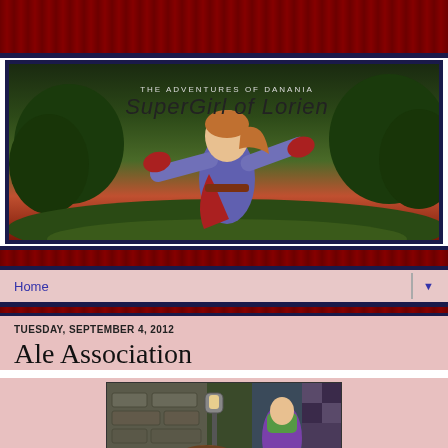[Figure (illustration): Blog header image for 'The Adventures of Danania - SuperGirl of Lorien' showing a female fantasy character in a purple outfit with red gloves against a sunset sky with green trees, in a video game art style]
Home
TUESDAY, SEPTEMBER 4, 2012
Ale Association
[Figure (screenshot): Screenshot from a fantasy video game showing a street scene with a character labeled TOWNSPERSON and colorful figures in a medieval town setting]